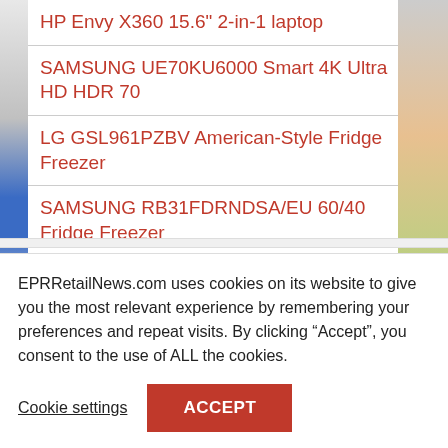HP Envy X360 15.6" 2-in-1 laptop
SAMSUNG UE70KU6000 Smart 4K Ultra HD HDR 70
LG GSL961PZBV American-Style Fridge Freezer
SAMSUNG RB31FDRNDSA/EU 60/40 Fridge Freezer
KENWOOD CK305G Gas Range Cooker
Gaming fans in particular should take note as the new Easter bargains feature an extra 20% savings off marked price on all PC gaming accessories. Deals include the popular Logitech Gaming wheel (with free Logitech
EPRRetailNews.com uses cookies on its website to give you the most relevant experience by remembering your preferences and repeat visits. By clicking “Accept”, you consent to the use of ALL the cookies.
Cookie settings
ACCEPT